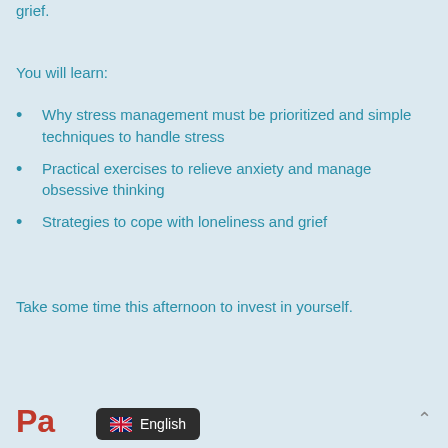grief.
You will learn:
Why stress management must be prioritized and simple techniques to handle stress
Practical exercises to relieve anxiety and manage obsessive thinking
Strategies to cope with loneliness and grief
Take some time this afternoon to invest in yourself.
Pa   English